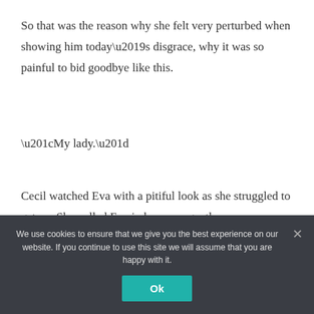as a maid.
So that was the reason why she felt very perturbed when showing him today’s disgrace, why it was so painful to bid goodbye like this.
“My lady.”
Cecil watched Eva with a pitiful look as she struggled to get up. She pulled Eva in her arms gently and...
We use cookies to ensure that we give you the best experience on our website. If you continue to use this site we will assume that you are happy with it.